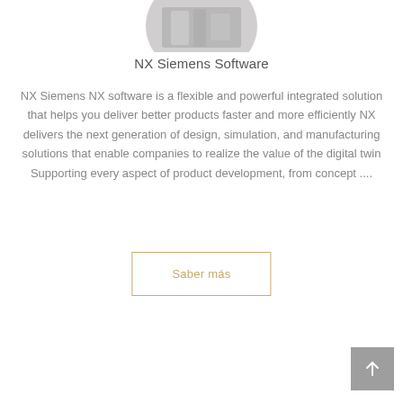[Figure (photo): Circular cropped grayscale photo of industrial/mechanical equipment (NX Siemens related machinery), shown at top center of the card]
NX Siemens Software
NX Siemens NX software is a flexible and powerful integrated solution that helps you deliver better products faster and more efficiently NX delivers the next generation of design, simulation, and manufacturing solutions that enable companies to realize the value of the digital twin Supporting every aspect of product development, from concept ....
Saber más